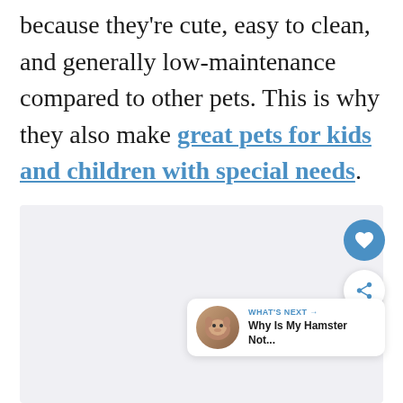because they're cute, easy to clean, and generally low-maintenance compared to other pets. This is why they also make great pets for kids and children with special needs.
[Figure (screenshot): Light grey content placeholder box with a heart (favorite) button, a share button, and a 'WHAT'S NEXT' card showing a hamster thumbnail and text 'Why Is My Hamster Not...']